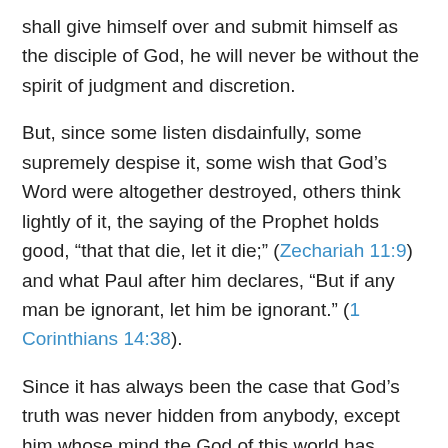shall give himself over and submit himself as the disciple of God, he will never be without the spirit of judgment and discretion.
But, since some listen disdainfully, some supremely despise it, some wish that God's Word were altogether destroyed, others think lightly of it, the saying of the Prophet holds good, “that that die, let it die;” (Zechariah 11:9) and what Paul after him declares, “But if any man be ignorant, let him be ignorant.” (1 Corinthians 14:38).
Since it has always been the case that God's truth was never hidden from anybody, except him whose mind the God of this world has blinded. (2 Corinthians 4:4). And this especially takes place when light has shone from heaven, which suffers none to go astray